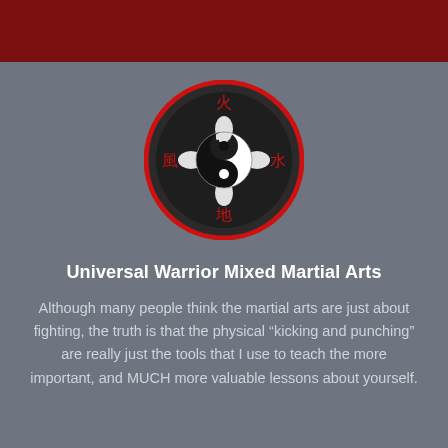[Figure (logo): Circular martial arts logo with dark background, red border, yin-yang symbol in center, four hands pointing inward at cardinal positions, red Chinese characters (fire, wind, water, earth) at top, left, right, bottom]
Universal Warrior Mixed Martial Arts
Although many people think the martial arts are just about fighting, the truth is that the physical “kicking and punching” are really just the tools that I use to teach the more important, and MUCH more valuable lessons about yourself.